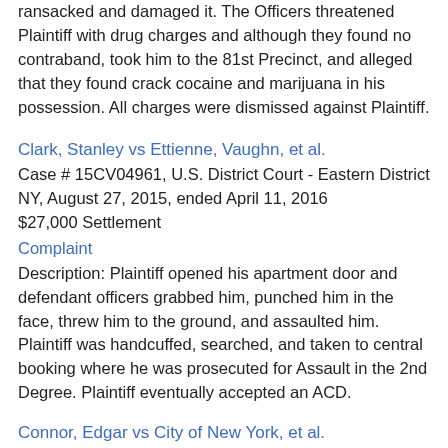ransacked and damaged it. The Officers threatened Plaintiff with drug charges and although they found no contraband, took him to the 81st Precinct, and alleged that they found crack cocaine and marijuana in his possession. All charges were dismissed against Plaintiff.
Clark, Stanley vs Ettienne, Vaughn, et al.
Case # 15CV04961, U.S. District Court - Eastern District NY, August 27, 2015, ended April 11, 2016
$27,000 Settlement
Complaint
Description: Plaintiff opened his apartment door and defendant officers grabbed him, punched him in the face, threw him to the ground, and assaulted him. Plaintiff was handcuffed, searched, and taken to central booking where he was prosecuted for Assault in the 2nd Degree. Plaintiff eventually accepted an ACD.
Connor, Edgar vs City of New York, et al.